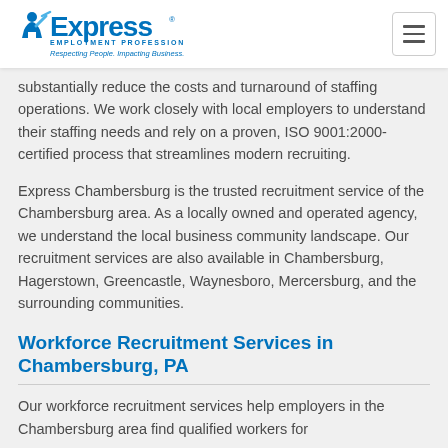Express Employment Professionals — Respecting People. Impacting Business.
substantially reduce the costs and turnaround of staffing operations. We work closely with local employers to understand their staffing needs and rely on a proven, ISO 9001:2000-certified process that streamlines modern recruiting.
Express Chambersburg is the trusted recruitment service of the Chambersburg area. As a locally owned and operated agency, we understand the local business community landscape. Our recruitment services are also available in Chambersburg, Hagerstown, Greencastle, Waynesboro, Mercersburg, and the surrounding communities.
Workforce Recruitment Services in Chambersburg, PA
Our workforce recruitment services help employers in the Chambersburg area find qualified workers for